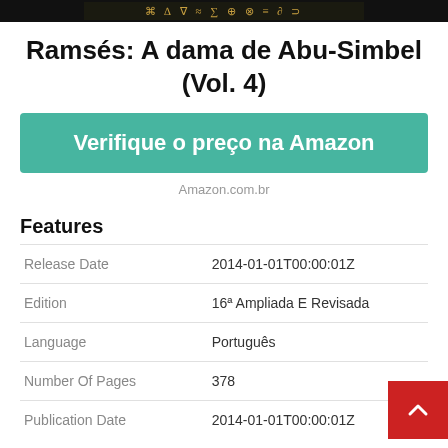[Figure (photo): Dark banner image with hieroglyph-like text pattern in gold on dark background]
Ramsés: A dama de Abu-Simbel (Vol. 4)
Verifique o preço na Amazon
Amazon.com.br
Features
|  |  |
| --- | --- |
| Release Date | 2014-01-01T00:00:01Z |
| Edition | 16ª Ampliada E Revisada |
| Language | Português |
| Number Of Pages | 378 |
| Publication Date | 2014-01-01T00:00:01Z |